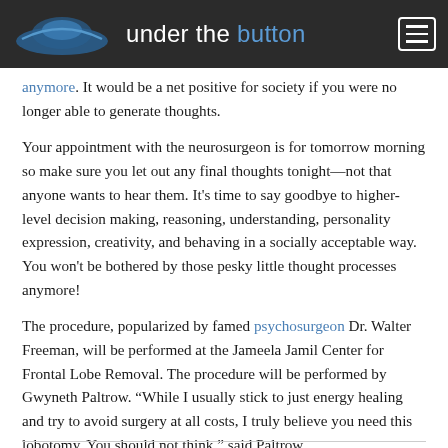under the button
anymore. It would be a net positive for society if you were no longer able to generate thoughts.
Your appointment with the neurosurgeon is for tomorrow morning so make sure you let out any final thoughts tonight—not that anyone wants to hear them. It's time to say goodbye to higher-level decision making, reasoning, understanding, personality expression, creativity, and behaving in a socially acceptable way. You won't be bothered by those pesky little thought processes anymore!
The procedure, popularized by famed psychosurgeon Dr. Walter Freeman, will be performed at the Jameela Jamil Center for Frontal Lobe Removal. The procedure will be performed by Gwyneth Paltrow. “While I usually stick to just energy healing and try to avoid surgery at all costs, I truly believe you need this lobotomy. You should not think,” said Paltrow.